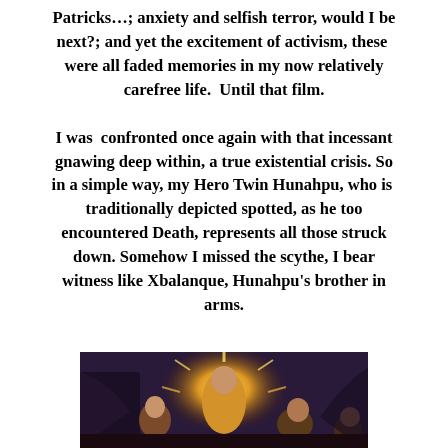Patricks…; anxiety and selfish terror, would I be next?; and yet the excitement of activism, these were all faded memories in my now relatively carefree life.  Until that film.

I was confronted once again with that incessant gnawing deep within, a true existential crisis. So in a simple way, my Hero Twin Hunahpu, who is traditionally depicted spotted, as he too encountered Death, represents all those struck down. Somehow I missed the scythe, I bear witness like Xbalanque, Hunahpu's brother in arms.
[Figure (illustration): A colorful painting depicting a central luminous figure with golden rays emanating outward, surrounded by other figures in a dramatic mythological scene.]